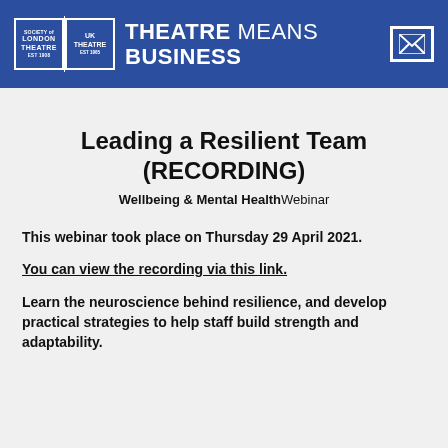THEATRE MEANS BUSINESS — Society of London Theatre | UK Theatre
Leading a Resilient Team (RECORDING)
Wellbeing & Mental Health Webinar
This webinar took place on Thursday 29 April 2021.
You can view the recording via this link.
Learn the neuroscience behind resilience, and develop practical strategies to help staff build strength and adaptability.